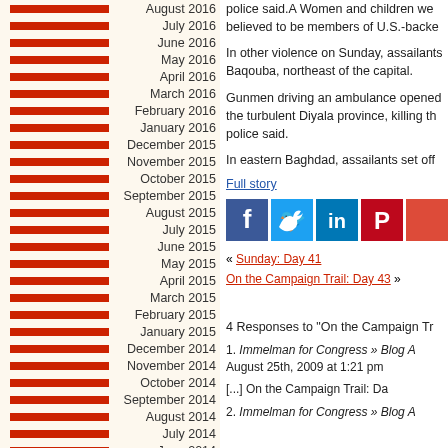August 2016
July 2016
June 2016
May 2016
April 2016
March 2016
February 2016
January 2016
December 2015
November 2015
October 2015
September 2015
August 2015
July 2015
June 2015
May 2015
April 2015
March 2015
February 2015
January 2015
December 2014
November 2014
October 2014
September 2014
August 2014
July 2014
June 2014
May 2014
police said.A Women and children we believed to be members of U.S.-backe
In other violence on Sunday, assailants Baqouba, northeast of the capital.
Gunmen driving an ambulance opened the turbulent Diyala province, killing th police said.
In eastern Baghdad, assailants set off
Full story
[Figure (other): Social media share buttons: Facebook, Twitter, LinkedIn, Pinterest]
« Sunday: Day 41
On the Campaign Trail: Day 43 »
4 Responses to "On the Campaign Tr
1. Immelman for Congress » Blog A August 25th, 2009 at 1:21 pm
[...] On the Campaign Trail: Da
2. Immelman for Congress » Blog A